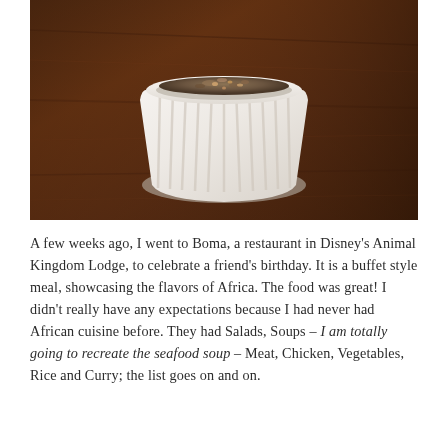[Figure (photo): Close-up photo of a white ceramic ramekin containing food, placed on a dark brown wooden table surface]
A few weeks ago, I went to Boma, a restaurant in Disney's Animal Kingdom Lodge, to celebrate a friend's birthday. It is a buffet style meal, showcasing the flavors of Africa. The food was great! I didn't really have any expectations because I had never had African cuisine before. They had Salads, Soups – I am totally going to recreate the seafood soup – Meat, Chicken, Vegetables, Rice and Curry; the list goes on and on.